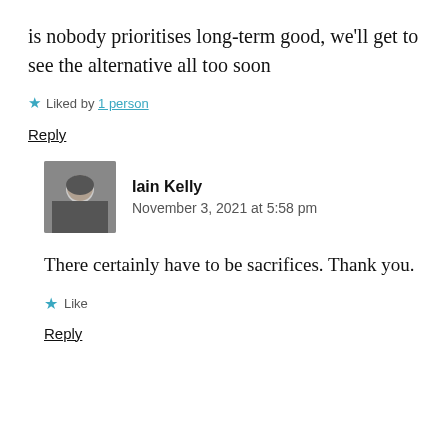is nobody prioritises long-term good, we'll get to see the alternative all too soon
Liked by 1 person
Reply
Iain Kelly
November 3, 2021 at 5:58 pm
There certainly have to be sacrifices. Thank you.
Like
Reply